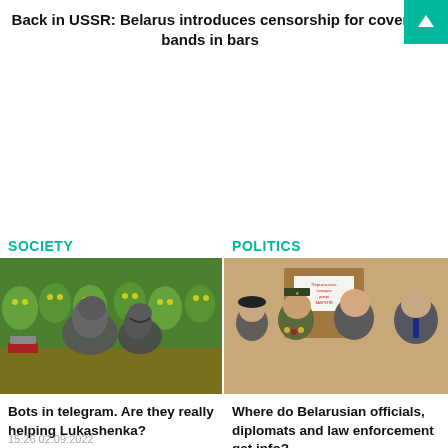Back in USSR: Belarus introduces censorship for cover bands in bars
[Figure (screenshot): Teal up-arrow navigation button in top-right corner]
SOCIETY
POLITICS
[Figure (photo): Godzilla toy figures on a desk with green background featuring alien-like faces]
[Figure (photo): Group of Belarusian military officials and diplomats standing in front of a door with Cyrillic text]
Bots in telegram. Are they really helping Lukashenka?
15:26 02.09.2022
Where do Belarusian officials, diplomats and law enforcement get info?